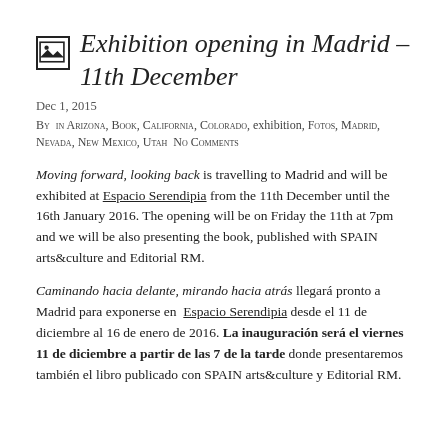Exhibition opening in Madrid – 11th December
Dec 1, 2015
By  in Arizona, Book, California, Colorado, exhibition, Fotos, Madrid, Nevada, New Mexico, Utah  No Comments
Moving forward, looking back is travelling to Madrid and will be exhibited at Espacio Serendipia from the 11th December until the 16th January 2016. The opening will be on Friday the 11th at 7pm and we will be also presenting the book, published with SPAIN arts&culture and Editorial RM.
Caminando hacia delante, mirando hacia atrás llegará pronto a Madrid para exponerse en  Espacio Serendipia desde el 11 de diciembre al 16 de enero de 2016. La inauguración será el viernes 11 de diciembre a partir de las 7 de la tarde donde presentaremos también el libro publicado con SPAIN arts&culture y Editorial RM.